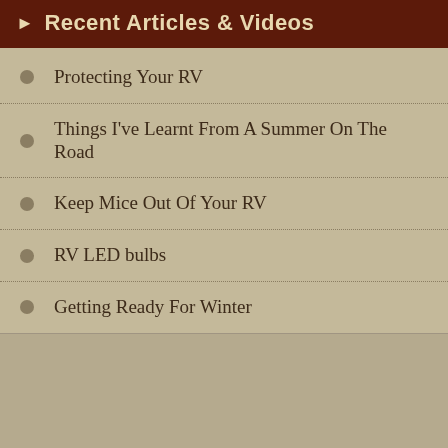Recent Articles & Videos
Protecting Your RV
Things I've Learnt From A Summer On The Road
Keep Mice Out Of Your RV
RV LED bulbs
Getting Ready For Winter